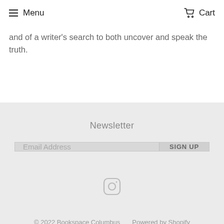Menu  Cart
and of a writer’s search to both uncover and speak the truth.
Newsletter
Email Address  SIGN UP
[Figure (illustration): Instagram icon (rounded square camera outline)]
© 2022 Bookspace Columbus  Powered by Shopify